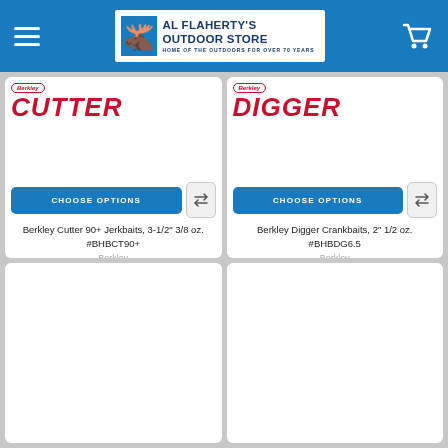Al Flaherty's Outdoor Store — Home of the Outdoors for Over 70 Years
[Figure (screenshot): Product card: Berkley Cutter lure. Shows Berkley badge, CUTTER logo in red italic, product image area, Choose Options button, compare button. Title: Berkley Cutter 90+ Jerkbaits, 3-1/2" 3/8 oz. #BHBCT90+. Brand: Berkley. Price: USD $7.07]
[Figure (screenshot): Product card: Berkley Digger crankbait. Shows Berkley badge, DIGGER logo in red italic, product image area, Choose Options button, compare button. Title: Berkley Digger Crankbaits, 2" 1/2 oz. #BHBDG6.5. Brand: Berkley. Price: USD $6.28]
[Figure (screenshot): Partially visible product card at bottom left]
[Figure (screenshot): Partially visible product card at bottom right]